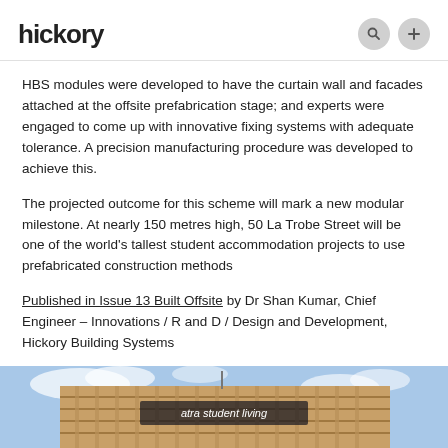hickory
HBS modules were developed to have the curtain wall and facades attached at the offsite prefabrication stage; and experts were engaged to come up with innovative fixing systems with adequate tolerance. A precision manufacturing procedure was developed to achieve this.
The projected outcome for this scheme will mark a new modular milestone. At nearly 150 metres high, 50 La Trobe Street will be one of the world's tallest student accommodation projects to use prefabricated construction methods
Published in Issue 13 Built Offsite by Dr Shan Kumar, Chief Engineer – Innovations / R and D / Design and Development, Hickory Building Systems
[Figure (photo): Bottom portion of a photograph showing a tall modern building with timber-clad facade and signage reading 'atra student living' against a blue sky with clouds.]